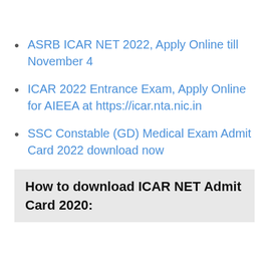ASRB ICAR NET 2022, Apply Online till November 4
ICAR 2022 Entrance Exam, Apply Online for AIEEA at https://icar.nta.nic.in
SSC Constable (GD) Medical Exam Admit Card 2022 download now
How to download ICAR NET Admit Card 2020: